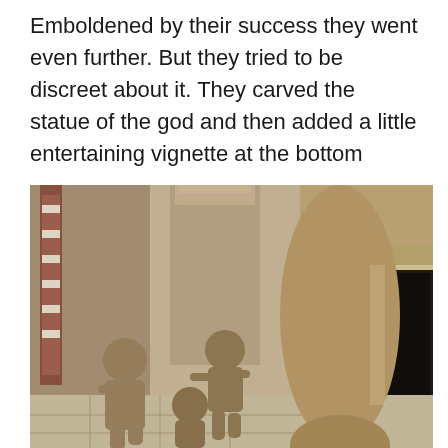Emboldened by their success they went even further.  But they tried to be discreet about it. They carved the statue of the god and then added a little entertaining vignette at the bottom
[Figure (photo): Photograph of ancient stone temple sculptures showing carved figures at the base of a pillar inside what appears to be an Indian temple. The carvings depict human figures in various poses around a large stone column, with a corridor visible in the background.]